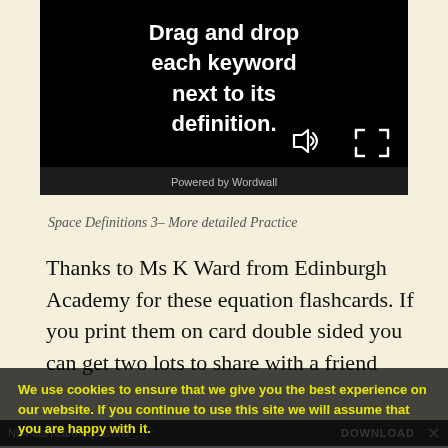[Figure (screenshot): Video player banner with black background showing the text 'Drag and drop each keyword next to its definition.' with speaker and fullscreen icons, and 'Powered by Wordwall' bar at bottom.]
Space Definitions 3– More detailed Practice
Thanks to Ms K Ward from Edinburgh Academy for these equation flashcards. If you print them on card double sided you can get two lots to share with a friend
We use cookies to ensure that we give you the best experience on our website. If you continue to use this site we will assume that you are happy with it.
N5-Flash-card-equations_…  DOWNLOAD  ✕
Ok